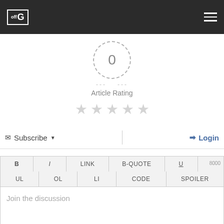offG logo and hamburger menu
[Figure (other): Article rating widget: dashed circle with score 0, dash marks on left and right, label 'Article Rating', and five empty gray stars below]
0
Article Rating
Subscribe ▾
Login
B  I  LINK  B-QUOTE  U  8000
UL  OL  LI  CODE  SPOILER
Join the discussion
17 COMMENTS